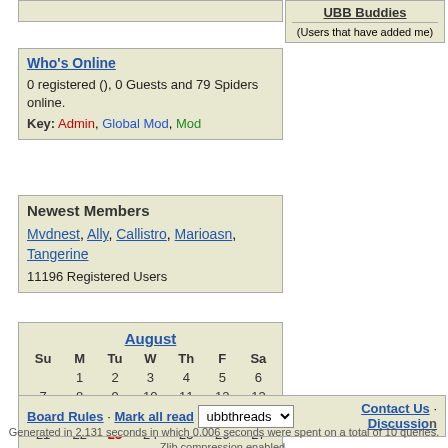UBB Buddies
(Users that have added me)
Who's Online
0 registered (), 0 Guests and 79 Spiders online.
Key: Admin, Global Mod, Mod
Newest Members
Mvdnest, Ally, Callistro, Marioasn, Tangerine
11196 Registered Users
| Su | M | Tu | W | Th | F | Sa |
| --- | --- | --- | --- | --- | --- | --- |
|  | 1 | 2 | 3 | 4 | 5 | 6 |
| 7 | 8 | 9 | 10 | 11 | 12 | 13 |
| 14 | 15 | 16 | 17 | 18 | 19 | 20 |
| 21 | 22 | 23 | 24 | 25 | 26 | 27 |
| 28 | 29 | 30 | 31 |  |  |  |
Board Rules · Mark all read  ubbthreads  Contact Us · Discussion
Generated in 2.131 seconds in which 0.006 seconds were spent on a total of 10 queries.
Zlib compression enabled.
Powered by UBB.threads™ 7.5.6